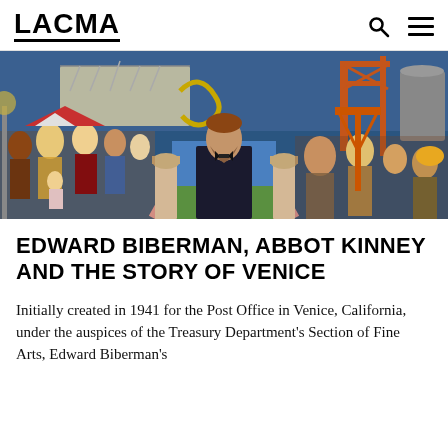LACMA
[Figure (photo): Wide panoramic painting showing Abbott Kinney surrounded by scenes of Venice, California including an amusement park, roller coaster, crowds of people, Corinthian columns, a rainbow arch, oil derricks and industrial structures in the background.]
EDWARD BIBERMAN, ABBOT KINNEY AND THE STORY OF VENICE
Initially created in 1941 for the Post Office in Venice, California, under the auspices of the Treasury Department's Section of Fine Arts, Edward Biberman's